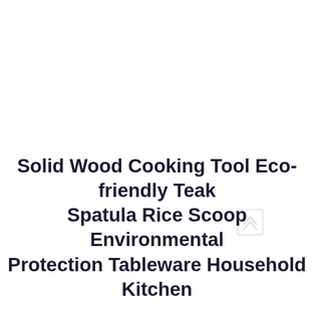Solid Wood Cooking Tool Eco-friendly Teak Spatula Rice Scoop Environmental Protection Tableware Household Kitchen